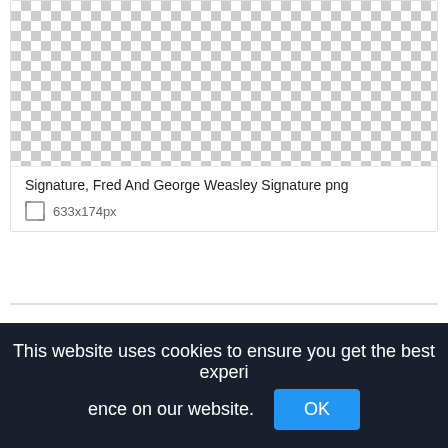[Figure (screenshot): Checkered transparency background representing a PNG image placeholder (first card)]
Signature, Fred And George Weasley Signature png
633x174px
[Figure (screenshot): Checkered transparency background representing a PNG image placeholder (second card)]
This website uses cookies to ensure you get the best experience on our website.